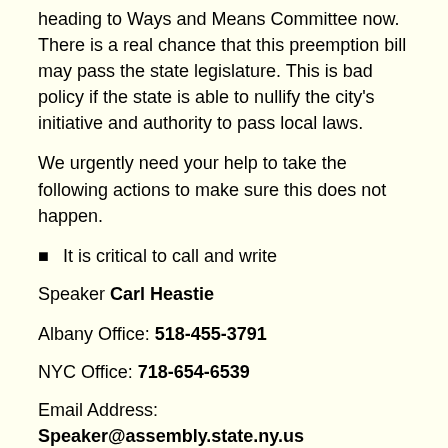heading to Ways and Means Committee now. There is a real chance that this preemption bill may pass the state legislature. This is bad policy if the state is able to nullify the city's initiative and authority to pass local laws.
We urgently need your help to take the following actions to make sure this does not happen.
It is critical to call and write
Speaker Carl Heastie
Albany Office: 518-455-3791
NYC Office: 718-654-6539
Email Address: Speaker@assembly.state.ny.us
Ask him to oppose A9904 and not to bring this bill to a vote on the Assembly floor.